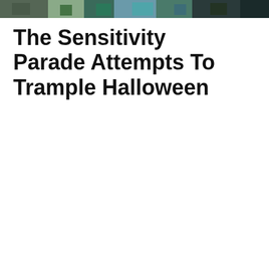[Figure (photo): A photo showing people at what appears to be a Halloween parade or event, with colorful costumes visible.]
The Sensitivity Parade Attempts To Trample Halloween